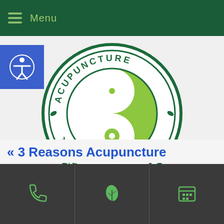Menu
[Figure (logo): Acupuncture Therapeutics circular logo with yin-yang symbol in green and white, surrounded by text 'ACUPUNCTURE THERAPEUTICS' with leaf decorations, all in dark green on white background]
« 3 Reasons Acupuncture